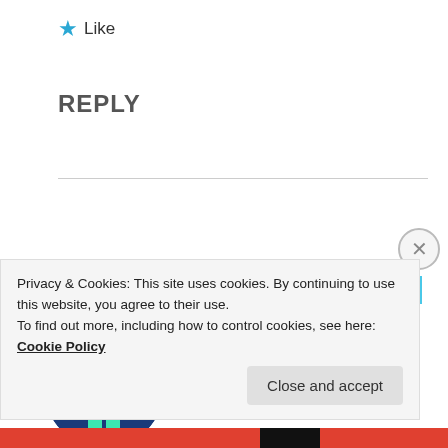★ Like
REPLY
Advertisements
[Figure (screenshot): Advertisement banner for DAY ONE app with light blue background]
[Figure (photo): Pixel art avatar of a robot/character in teal and dark blue, circular cropped]
APRIL T, HIGGLE-E-PIGGLEDY
September 6, 2013 at 8:48 pm
Privacy & Cookies: This site uses cookies. By continuing to use this website, you agree to their use.
To find out more, including how to control cookies, see here: Cookie Policy
Close and accept